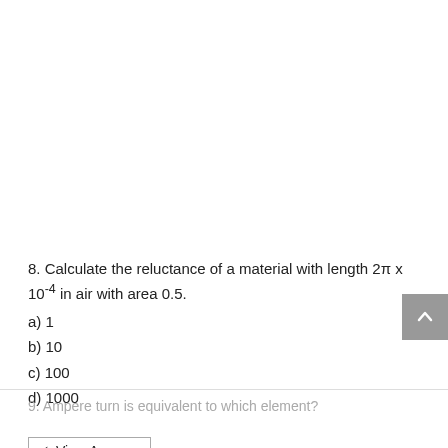8. Calculate the reluctance of a material with length 2π x 10⁻⁴ in air with area 0.5.
a) 1
b) 10
c) 100
d) 1000
✓ View Answer
9. Ampere turn is equivalent to which element?